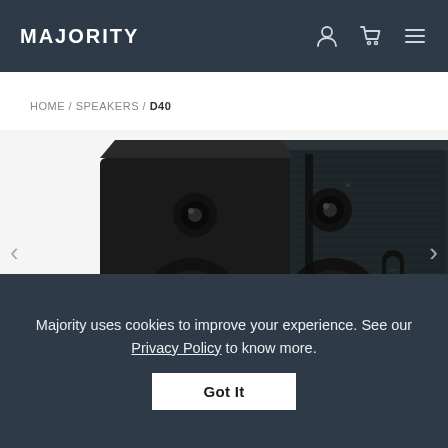MAJORITY
HOME / SPEAKERS / D40
[Figure (photo): Two black bookshelf speakers (Majority D40) shown close-up at an angle, displaying front-facing woofers and tweeters; the right speaker shows a brushed dark side panel with a volume/control knob slot. Navigation arrows on left and right sides.]
Majority uses cookies to improve your experience. See our Privacy Policy to know more.
Got It